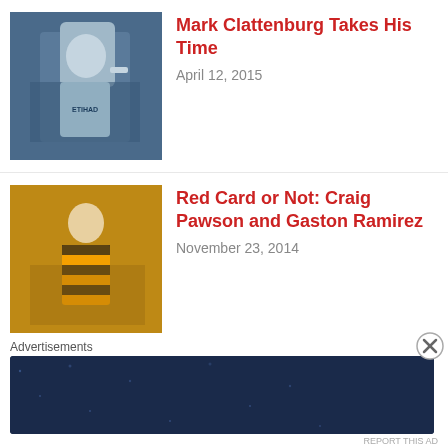Mark Clattenburg Takes His Time — April 12, 2015
Red Card or Not: Craig Pawson and Gaston Ramirez — November 23, 2014
Sorry, but the Christian Benteke Red Card Was Correct — November 2, 2014
Did Mark Clattenburg Really Get Suspended for Concert? — November 2, 2014
Advertisements
[Figure (screenshot): Advertisement banner: Create surveys, polls, quizzes, and forms. WordPress and SurveyANY logos.]